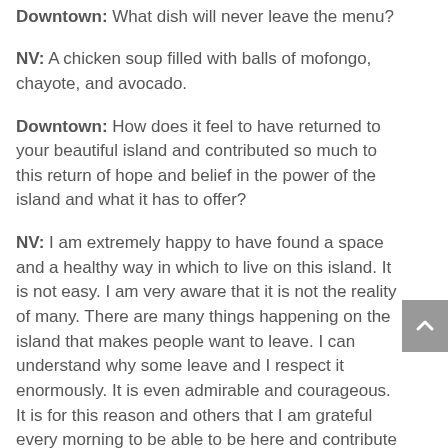unexpected and fun ways.
Downtown: What dish will never leave the menu?
NV: A chicken soup filled with balls of mofongo, chayote, and avocado.
Downtown: How does it feel to have returned to your beautiful island and contributed so much to this return of hope and belief in the power of the island and what it has to offer?
NV: I am extremely happy to have found a space and a healthy way in which to live on this island. It is not easy. I am very aware that it is not the reality of many. There are many things happening on the island that makes people want to leave. I can understand why some leave and I respect it enormously. It is even admirable and courageous. It is for this reason and others that I am grateful every morning to be able to be here and contribute even the smallest grain of hope and help